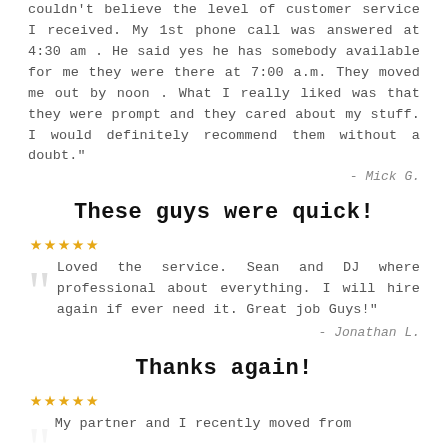couldn't believe the level of customer service I received. My 1st phone call was answered at 4:30 am . He said yes he has somebody available for me they were there at 7:00 a.m. They moved me out by noon . What I really liked was that they were prompt and they cared about my stuff. I would definitely recommend them without a doubt."
- Mick G.
These guys were quick!
★★★★★
Loved the service. Sean and DJ where professional about everything. I will hire again if ever need it. Great job Guys!"
- Jonathan L.
Thanks again!
★★★★★
My partner and I recently moved from